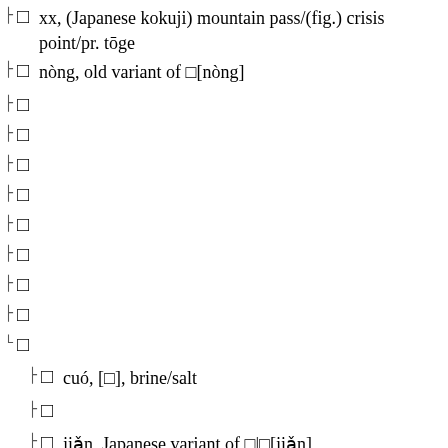⿱ xx, (Japanese kokuji) mountain pass/(fig.) crisis point/pr. tōge
⿱ nòng, old variant of 弄[nòng]
⿱
⿱
⿱
⿱
⿱
⿱
⿱
⿱
⿱
⿱
⿱ cuó, [鹺], brine/salt
⿱
⿱ jiǎn, Japanese variant of 鹼|碱[jiǎn]
⿱